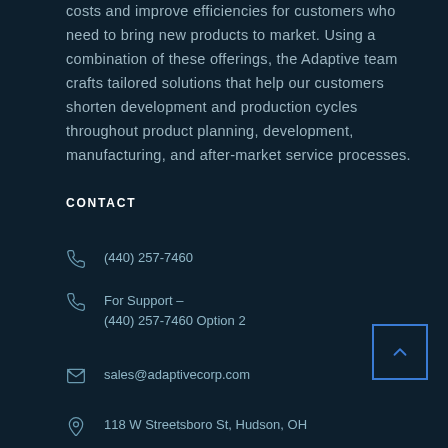costs and improve efficiencies for customers who need to bring new products to market. Using a combination of these offerings, the Adaptive team crafts tailored solutions that help our customers shorten development and production cycles throughout product planning, development, manufacturing, and after-market service processes.
CONTACT
(440) 257-7460
For Support – (440) 257-7460 Option 2
sales@adaptivecorp.com
118 W Streetsboro St, Hudson, OH